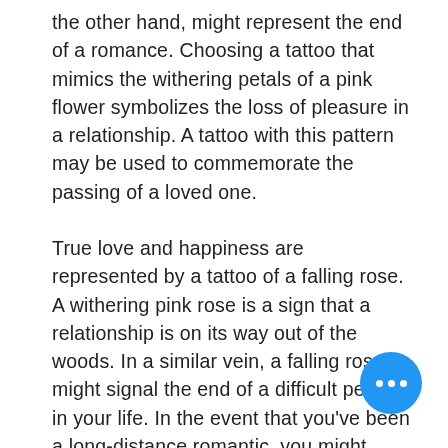the other hand, might represent the end of a romance. Choosing a tattoo that mimics the withering petals of a pink flower symbolizes the loss of pleasure in a relationship. A tattoo with this pattern may be used to commemorate the passing of a loved one. True love and happiness are represented by a tattoo of a falling rose. A withering pink rose is a sign that a relationship is on its way out of the woods. In a similar vein, a falling rose might signal the end of a difficult period in your life. In the event that you've been a long-distance romantic, you might consider getting a tattoo of a fading rose to represent the conclusion of your love. A rose tattoo with petals falling is a